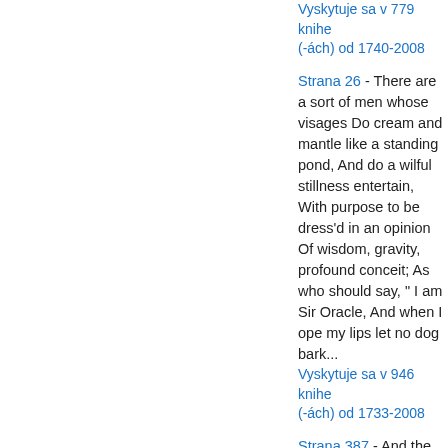Vyskytuje sa v 779 knihe(-ách) od 1740-2008
Strana 26 - There are a sort of men whose visages Do cream and mantle like a standing pond, And do a wilful stillness entertain, With purpose to be dress'd in an opinion Of wisdom, gravity, profound conceit; As who should say, " I am Sir Oracle, And when I ope my lips let no dog bark...
Vyskytuje sa v 946 knihe(-ách) od 1733-2008
Strana 387 - And the Lord said, My spirit shall not always strive with man, for that he also is...